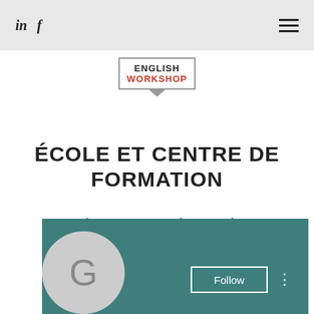in  f
[Figure (logo): English Workshop logo in a bordered speech-bubble box]
ÉCOLE ET CENTRE DE FORMATION
L'anglais pour tous, sur place ou en ligne
contactenglishworkshopco@gmail.com
S'INSCRIRE
[Figure (screenshot): Teal footer section with Follow button, three-dot menu, and a gray G avatar circle at bottom left]